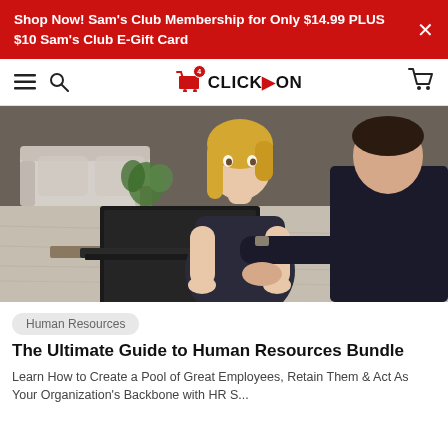Shop Now! Sam's Club Membership for Only $14.99 PLUS $10 Sam's Club E-Gift Card
[Figure (screenshot): Website navigation bar with hamburger menu, search icon, CLICK ON logo (shopping cart with badge and arrow logo), and cart icon on the right.]
[Figure (photo): Two professional women looking at a laptop computer together in an office/home setting with wooden floors and a couch in the background.]
Human Resources
The Ultimate Guide to Human Resources Bundle
Learn How to Create a Pool of Great Employees, Retain Them & Act As Your Organization's Backbone with HR S...